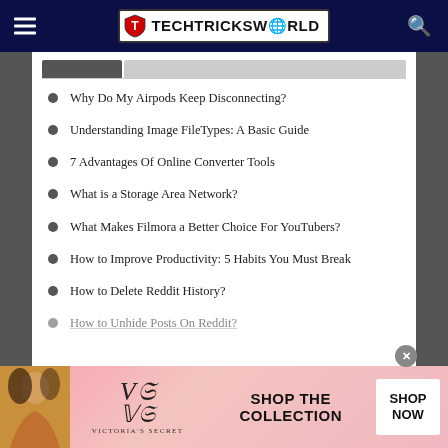TECHTRICKSWORLD
Why Do My Airpods Keep Disconnecting?
Understanding Image FileTypes: A Basic Guide
7 Advantages Of Online Converter Tools
What is a Storage Area Network?
What Makes Filmora a Better Choice For YouTubers?
How to Improve Productivity: 5 Habits You Must Break
How to Delete Reddit History?
How to Unhide Posts On Reddit?
[Figure (screenshot): Victoria's Secret advertisement banner with shop now button]